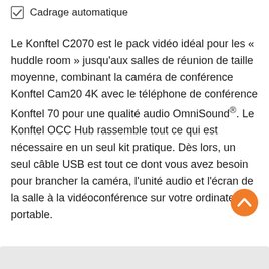Cadrage automatique
Le Konftel C2070 est le pack vidéo idéal pour les « huddle room » jusqu'aux salles de réunion de taille moyenne, combinant la caméra de conférence Konftel Cam20 4K avec le téléphone de conférence Konftel 70 pour une qualité audio OmniSound®. Le Konftel OCC Hub rassemble tout ce qui est nécessaire en un seul kit pratique. Dès lors, un seul câble USB est tout ce dont vous avez besoin pour brancher la caméra, l'unité audio et l'écran de la salle à la vidéoconférence sur votre ordinateur portable.
[Figure (illustration): Orange circular scroll-to-top button with upward chevron arrow icon]